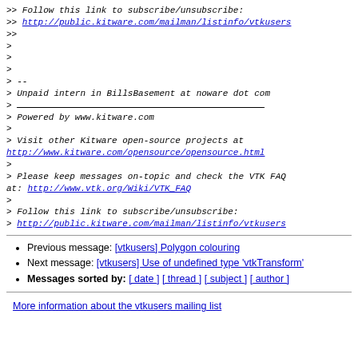>> Follow this link to subscribe/unsubscribe:
>> http://public.kitware.com/mailman/listinfo/vtkusers
>>
>
>
>
> --
> Unpaid intern in BillsBasement at noware dot com
> ___________________________________________
> Powered by www.kitware.com
>
> Visit other Kitware open-source projects at
http://www.kitware.com/opensource/opensource.html
>
> Please keep messages on-topic and check the VTK FAQ
at: http://www.vtk.org/Wiki/VTK_FAQ
>
> Follow this link to subscribe/unsubscribe:
> http://public.kitware.com/mailman/listinfo/vtkusers
Previous message: [vtkusers] Polygon colouring
Next message: [vtkusers] Use of undefined type 'vtkTransform'
Messages sorted by: [ date ] [ thread ] [ subject ] [ author ]
More information about the vtkusers mailing list